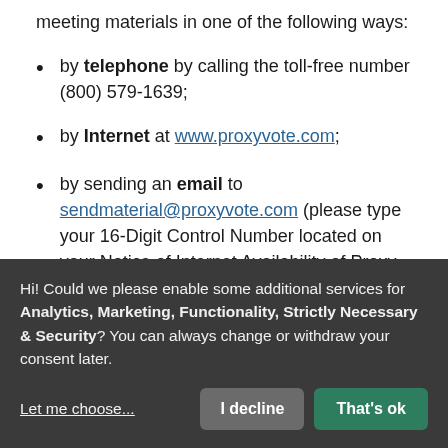meeting materials in one of the following ways:
by telephone by calling the toll-free number (800) 579-1639;
by Internet at www.proxyvote.com;
by sending an email to sendmaterial@proxyvote.com (please type your 16-Digit Control Number located on your Notice of Internet Availability of Proxy Materials); or
Hi! Could we please enable some additional services for Analytics, Marketing, Functionality, Strictly Necessary & Security? You can always change or withdraw your consent later.
Let me choose...
I decline
That's ok